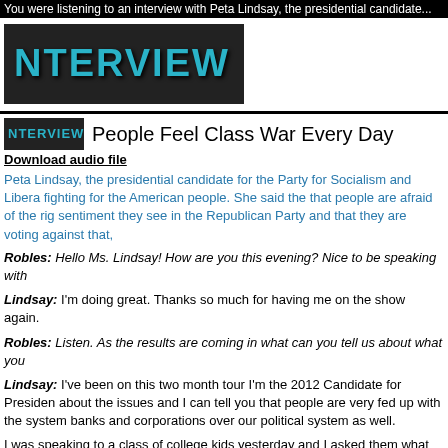You were listening to an interview with Peta Lindsay, the presidential candidate...
[Figure (logo): INTERVIEW logo banner — teal/cyan letters on dark background]
People Feel Class War Every Day
Download audio file
Peta Lindsay, the presidential candidate for the Party for Socialism and Libera... fighting for the American people. She said the that people are afraid of the rig... sentiment they see in the Republican Party and that they are voting against that,
Robles: Hello Ms. Lindsay! How are you this evening? Nice to be speaking with...
Lindsay: I'm doing great. Thanks so much for having me on the show again.
Robles: Listen. As the results are coming in what can you tell us about what you...
Lindsay: I've been on this two month tour I'm the 2012 Candidate for President... about the issues and I can tell you that people are very fed up with the system... banks and corporations over our political system as well.
I was speaking to a class of college kids yesterday and I asked them what they t... said jobs for poor people and racist police brutality. And those are the two issue... that the two major candidates have not spoken about police brutality at all.
So, what they are talking about is so far from the reality of what working peo... frustration that the American people are feeling right now in this election.
Robles: What do you know about irregularities in the voting process at the po...